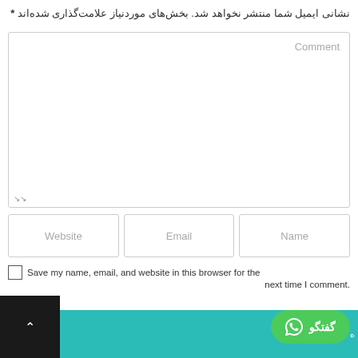نشانی ایمیل شما منتشر نخواهد شد. بخش‌های موردنیاز علامت‌گذاری شده‌اند *
[Figure (screenshot): Comment text area input box with placeholder text 'Comment' and resize handle at bottom-left]
[Figure (screenshot): Three input fields in a row: Name (right), Email (center), Website (left)]
Save my name, email, and website in this browser for the next time I comment.
[Figure (screenshot): Bottom bar with black up-arrow button on left, teal block, and green WhatsApp 'گفتگو' chat button]